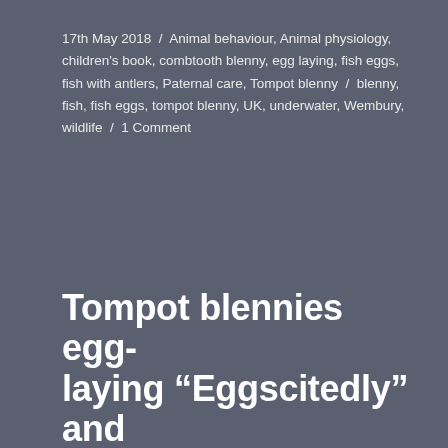17th May 2018 / Animal behaviour, Animal physiology, children's book, combtooth blenny, egg laying, fish eggs, fish with antlers, Paternal care, Tompot blenny / blenny, fish, fish eggs, tompot blenny, UK, underwater, Wembury, wildlife / 1 Comment
Tompot blennies egg-laying “Eggscitedly” and “Eggsstaticly!”
[Figure (screenshot): CAPTCHA widget showing reCAPTCHA verification with text 'please confirm that you’re a human (and not a spambot).' and a checkbox labeled 'I'm not a robot' with reCAPTCHA branding including Privacy and Terms links.]